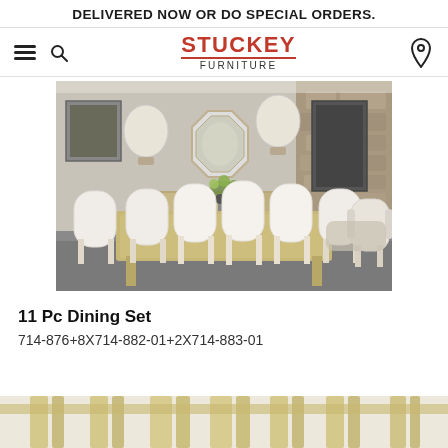DELIVERED NOW OR DO SPECIAL ORDERS.
[Figure (screenshot): Stuckey Furniture website navigation bar with hamburger menu, search icon, Stuckey Furniture logo in red and black, and location pin icon]
[Figure (photo): Elegant dining room with a large rectangular table surrounded by 11 cream/ivory upholstered chairs, decorative mirrors, wall sconces, and stone accent wall]
11 Pc Dining Set
714-876+8X714-882-01+2X714-883-01
[Figure (photo): Partial view of dining set from below showing table legs and chair bases in a light cream/gold finish]